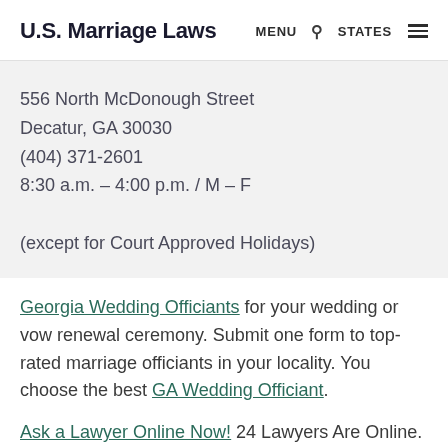U.S. Marriage Laws  MENU  🔍  STATES  ≡
556 North McDonough Street
Decatur, GA 30030
(404) 371-2601
8:30 a.m. – 4:00 p.m. / M – F

(except for Court Approved Holidays)
Georgia Wedding Officiants for your wedding or vow renewal ceremony. Submit one form to top-rated marriage officiants in your locality. You choose the best GA Wedding Officiant.
Ask a Lawyer Online Now! 24 Lawyers Are Online. Ask a Question, Get an Answer ASAP.